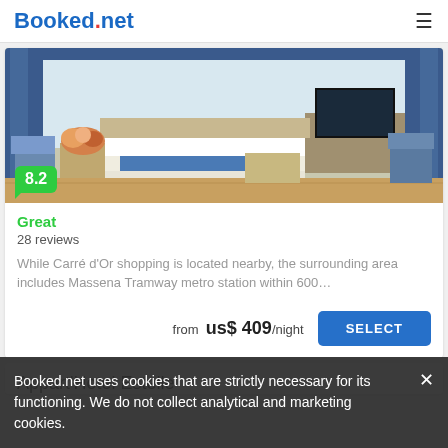Booked.net
[Figure (photo): Luxury hotel room with blue drapery, ornate white furniture, a large bed with blue runner, flowers, and a flat-screen TV]
8.2
Great
28 reviews
While Carré d'Or shopping is located nearby, the surrounding area includes Massena Tramway metro station within 600…
from us$ 409/night
Appart'Hotel Estelle
Booked.net uses cookies that are strictly necessary for its functioning. We do not collect analytical and marketing cookies.